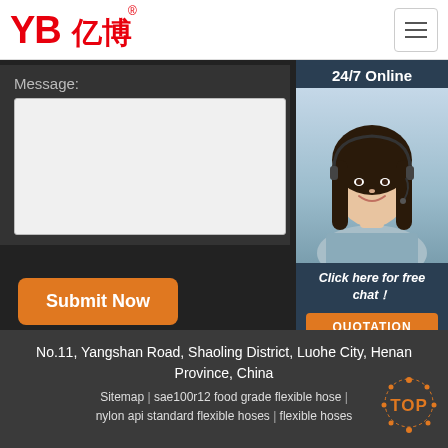[Figure (logo): YB 亿博 logo in red with registered trademark symbol]
Message:
[Figure (photo): Customer service representative with headset, smiling, 24/7 Online widget panel]
Click here for free chat！
QUOTATION
Submit Now
No.11, Yangshan Road, Shaoling District, Luohe City, Henan Province, China
Sitemap | sae100r12 food grade flexible hose | nylon api standard flexible hoses | flexible hoses